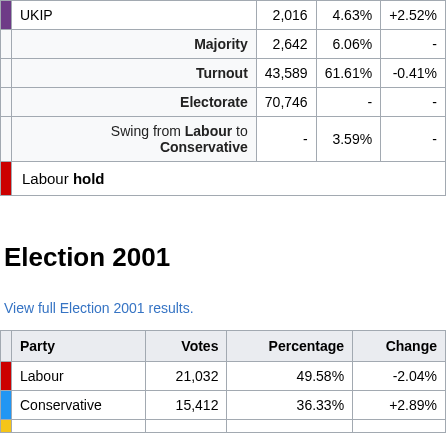| Party | Votes | Percentage | Change |
| --- | --- | --- | --- |
| UKIP | 2,016 | 4.63% | +2.52% |
| Majority | 2,642 | 6.06% | - |
| Turnout | 43,589 | 61.61% | -0.41% |
| Electorate | 70,746 | - | - |
| Swing from Labour to Conservative | - | 3.59% | - |
| Labour hold |  |  |  |
Election 2001
View full Election 2001 results.
| Party | Votes | Percentage | Change |
| --- | --- | --- | --- |
| Labour | 21,032 | 49.58% | -2.04% |
| Conservative | 15,412 | 36.33% | +2.89% |